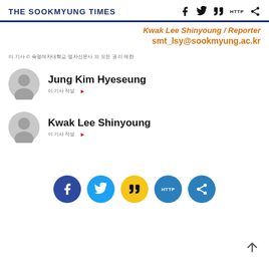THE SOOKMYUNG TIMES
Kwak Lee Shinyoung / Reporter
smt_lsy@sookmyung.ac.kr
이 기사 © 숙명여자대학교 영자신문사 의 모든 권리 제한
Jung Kim Hyeseung — 이 기사 작성 ▶
Kwak Lee Shinyoung — 이 기사 작성 ▶